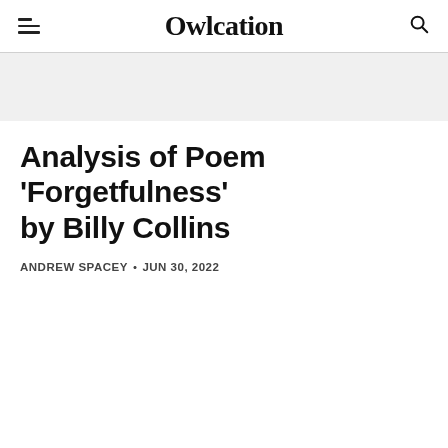Owlcation
Analysis of Poem 'Forgetfulness' by Billy Collins
ANDREW SPACEY • JUN 30, 2022